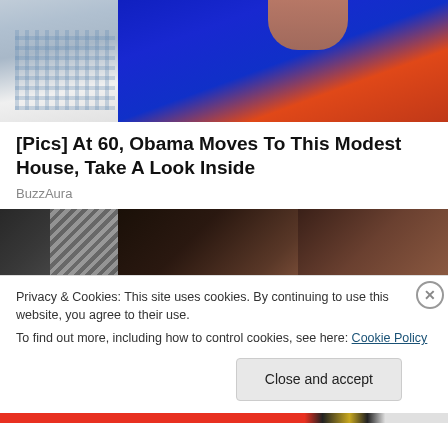[Figure (photo): Outdoor photo of two people: a man in a blue/white checked shirt on the left and a woman in a blue dress with an orange strap on the right, with green foliage and a blue structure in the background.]
[Pics] At 60, Obama Moves To This Modest House, Take A Look Inside
BuzzAura
[Figure (photo): Close-up photo of a woman with dark hair, partially obscured, with a microphone visible on the left and a dark/striped background.]
Privacy & Cookies: This site uses cookies. By continuing to use this website, you agree to their use.
To find out more, including how to control cookies, see here: Cookie Policy